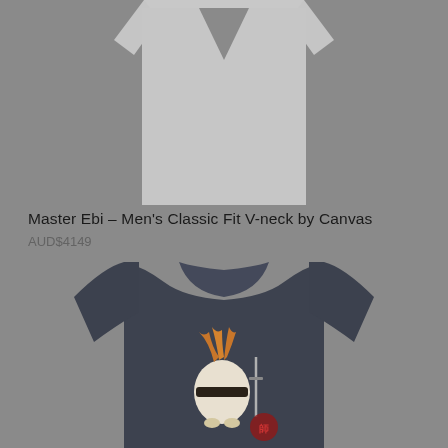[Figure (photo): Bottom portion of a light grey V-neck shirt displayed on a white background, cropped at the top]
Master Ebi – Men’s Classic Fit V-neck by Canvas
AUD$4149
[Figure (photo): Dark navy/charcoal crew neck t-shirt with an illustrated design on the chest showing a cartoon shrimp/prawn character (Master Ebi) dressed as a samurai with a sword and armor, with a red circular stamp/seal]